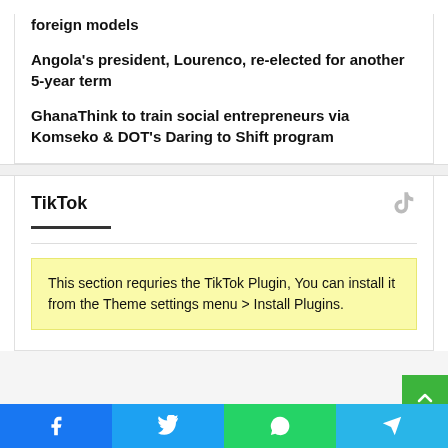foreign models
Angola's president, Lourenco, re-elected for another 5-year term
GhanaThink to train social entrepreneurs via Komseko & DOT's Daring to Shift program
TikTok
This section requries the TikTok Plugin, You can install it from the Theme settings menu > Install Plugins.